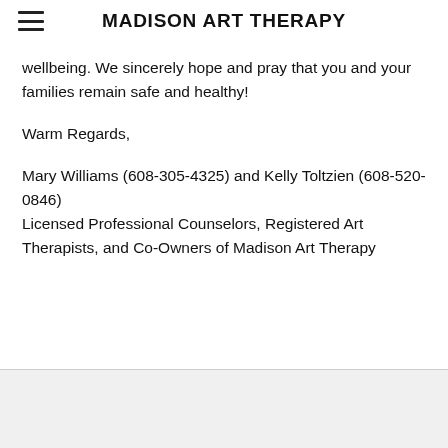MADISON ART THERAPY
wellbeing. We sincerely hope and pray that you and your families remain safe and healthy!
Warm Regards,
Mary Williams (608-305-4325) and Kelly Toltzien (608-520-0846)
Licensed Professional Counselors, Registered Art Therapists, and Co-Owners of Madison Art Therapy